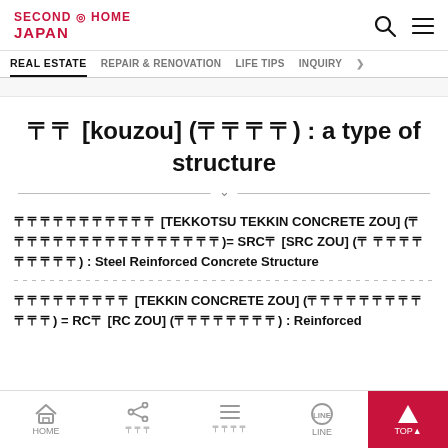SECOND HOME JAPAN
REAL ESTATE  REPAIR & RENOVATION  LIFE TIPS  INQUIRY
?? [kouzou] (????) : a type of structure
?????????? [TEKKOTSU TEKKIN CONCRETE ZOU] (?????????????????)= SRC? [SRC ZOU] (?????????) : Steel Reinforced Concrete Structure
???????? [TEKKIN CONCRETE ZOU] (????????? ???) = RC? [RC ZOU] (????????) : Reinforced